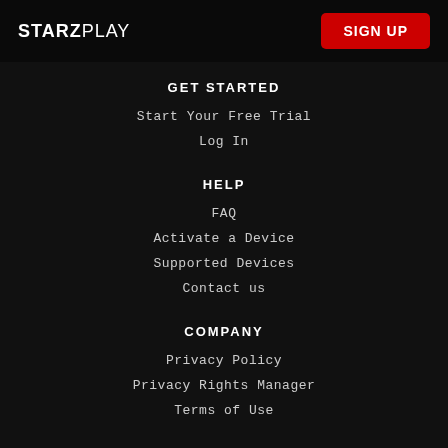STARZPLAY | SIGN UP
GET STARTED
Start Your Free Trial
Log In
HELP
FAQ
Activate a Device
Supported Devices
Contact us
COMPANY
Privacy Policy
Privacy Rights Manager
Terms of Use